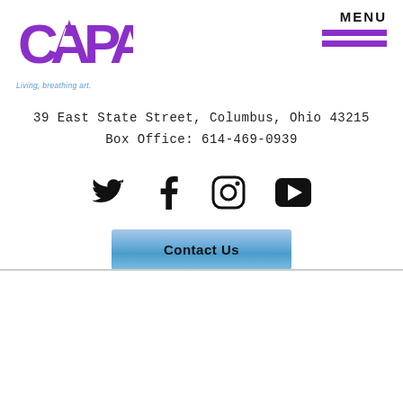[Figure (logo): CAPA logo with tagline 'Living, breathing art.' in purple and blue]
MENU
39 East State Street, Columbus, Ohio 43215
Box Office: 614-469-0939
[Figure (infographic): Social media icons: Twitter, Facebook, Instagram, YouTube]
[Figure (illustration): Contact Us button in blue gradient]
[Figure (logo): Ohio Arts Council logo in gray]
[Figure (logo): gcac Greater Columbus Arts Council logo in gray]
[Figure (logo): Partially visible logos at bottom]